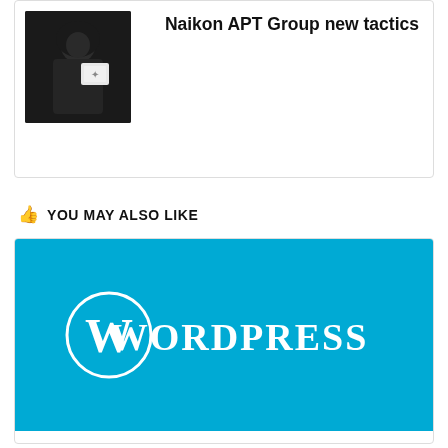[Figure (photo): Thumbnail image of a person in dark hoodie holding a sign, dark background]
Naikon APT Group new tactics
YOU MAY ALSO LIKE
[Figure (logo): WordPress logo on a cyan/blue background — white circle with W icon and WORDPRESS text]
Critical vulnerability in 3 WordPress Plugins impacts 84,000+ websites